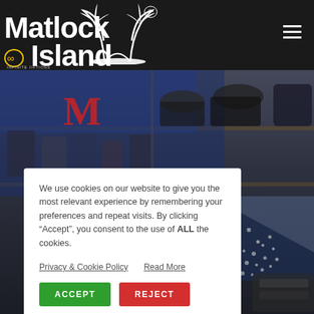[Figure (logo): Matlock Island logo with palm trees and infinity symbol]
[Figure (photo): Interior of a retail store with shelves of merchandise, hats, bags, and decorative items in blue and white colors]
We use cookies on our website to give you the most relevant experience by remembering your preferences and repeat visits. By clicking “Accept”, you consent to the use of ALL the cookies.
Privacy & Cookie Policy   Read More
ACCEPT
REJECT